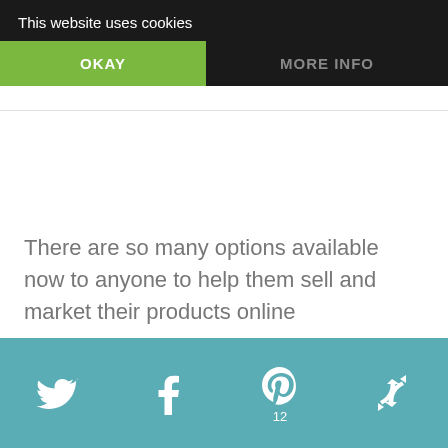This website uses cookies
OKAY
MORE INFO
There are so many options available now to anyone to help them sell and market their products online
[Figure (infographic): Social share bar with Twitter, Facebook, Pinterest (count: 12), and a share/recycle icon on a teal background]